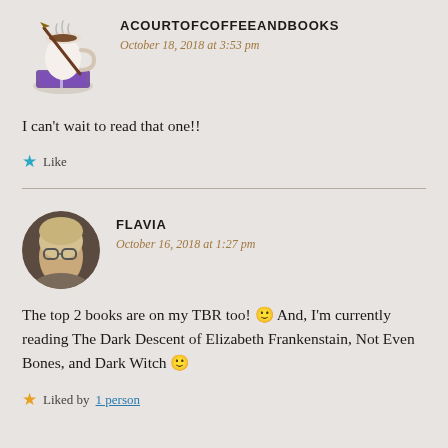[Figure (illustration): Avatar logo for acourtofcoffeeandbooks: a cartoon coffee cup with a book and a quill pen]
ACOURTOFCOFFEEANDBOOKS
October 18, 2018 at 3:53 pm
I can't wait to read that one!!
Like
[Figure (photo): Circular avatar photo of Flavia: a young woman with glasses and blonde hair]
FLAVIA
October 16, 2018 at 1:27 pm
The top 2 books are on my TBR too! 🙂 And, I'm currently reading The Dark Descent of Elizabeth Frankenstain, Not Even Bones, and Dark Witch 🙂
Liked by 1 person